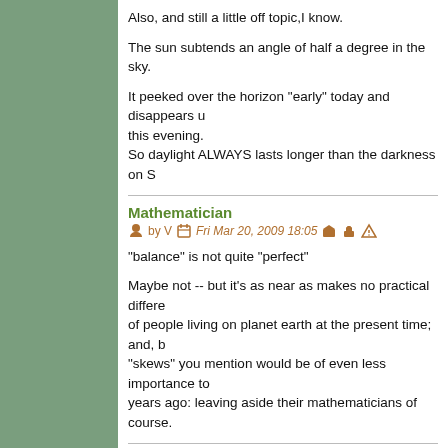Also, and still a little off topic,I know.
The sun subtends an angle of half a degree in the sky.
It peeked over the horizon "early" today and disappears u this evening.
So daylight ALWAYS lasts longer than the darkness on S
Mathematician
by V   Fri Mar 20, 2009 18:05
"balance" is not quite "perfect"
Maybe not -- but it's as near as makes no practical differe of people living on planet earth at the present time; and, b "skews" you mention would be of even less importance to years ago: leaving aside their mathematicians of course.
Tara Defenders
by The Brother   Sun Oct 24, 2010 19:32
Well done to Tara Defenders your names will go down in are still active.